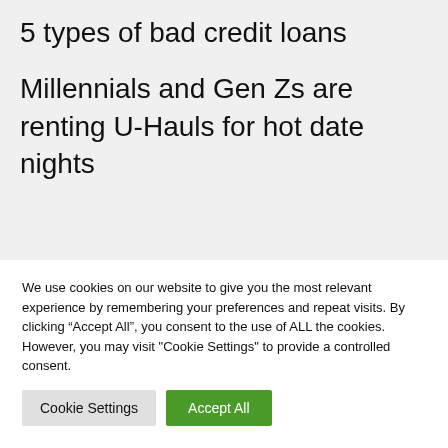5 types of bad credit loans
Millennials and Gen Zs are renting U-Hauls for hot date nights
We use cookies on our website to give you the most relevant experience by remembering your preferences and repeat visits. By clicking “Accept All”, you consent to the use of ALL the cookies. However, you may visit "Cookie Settings" to provide a controlled consent.